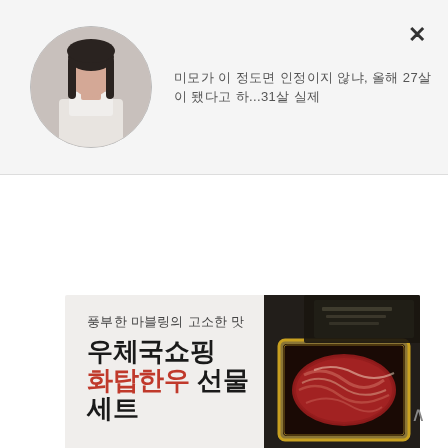[Figure (photo): Circular avatar photo of a young woman with long dark hair wearing a white turtleneck, positioned in the page header]
미모가 이 정도면 인정이지 않냐, 올해 27살이 됐다고 하...31살 실제
[Figure (illustration): Advertisement banner for 우체국쇼핑 화탑한우 선물세트 (Korea Post Shopping Hwatap Hanwoo Gift Set). Left side shows Korean text: 풍부한 마블링의 고소한 맛 / 우체국쇼핑 / 화탑한우 선물세트. Right side shows a photo of sliced Korean beef (hanwoo) in a gold-rimmed black tray against a dark background.]